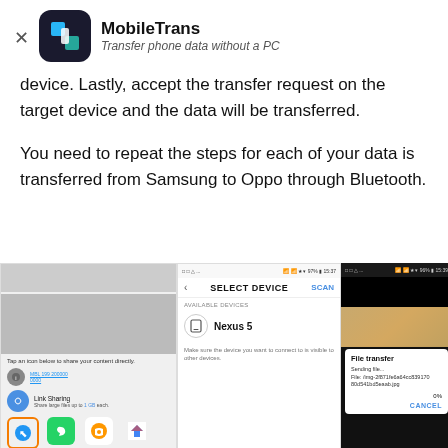[Figure (logo): MobileTrans app header with close X button, dark rounded square app icon with blue/teal square graphic, app name MobileTrans in bold and tagline Transfer phone data without a PC in italic]
device. Lastly, accept the transfer request on the target device and the data will be transferred.
You need to repeat the steps for each of your data is transferred from Samsung to Oppo through Bluetooth.
[Figure (screenshot): Composite screenshot showing three phone screens: left screen shows share menu with Bluetooth selected (orange border), WhatsApp, Messages, Upload to Photos icons; middle screen shows Select Device screen with Nexus 5 available; right screen shows File transfer dialog sending a .jpg file at 0% with Cancel button]